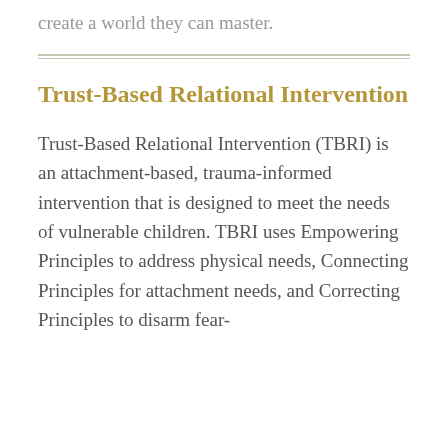create a world they can master.
Trust-Based Relational Intervention
Trust-Based Relational Intervention (TBRI) is an attachment-based, trauma-informed intervention that is designed to meet the needs of vulnerable children. TBRI uses Empowering Principles to address physical needs, Connecting Principles for attachment needs, and Correcting Principles to disarm fear-